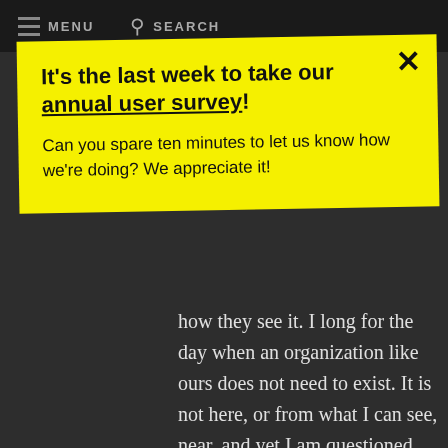MENU   SEARCH
It's the last week to take our annual user survey!
Can you spare ten minutes to let us know how we're doing? We appreciate it!
how they see it. I long for the day when an organization like ours does not need to exist. It is not here, or from what I can see, near, and yet I am questioned constantly from people - challenged really - about the need for Harlem Stage in a world that